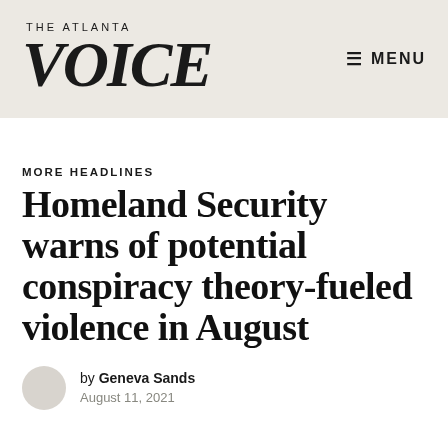THE ATLANTA VOICE | MENU
MORE HEADLINES
Homeland Security warns of potential conspiracy theory-fueled violence in August
by Geneva Sands
August 11, 2021